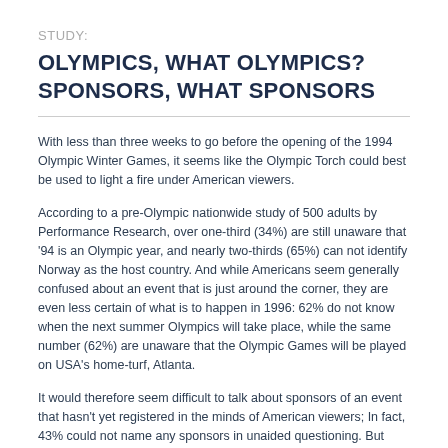STUDY:
OLYMPICS, WHAT OLYMPICS? SPONSORS, WHAT SPONSORS
With less than three weeks to go before the opening of the 1994 Olympic Winter Games, it seems like the Olympic Torch could best be used to light a fire under American viewers.
According to a pre-Olympic nationwide study of 500 adults by Performance Research, over one-third (34%) are still unaware that '94 is an Olympic year, and nearly two-thirds (65%) can not identify Norway as the host country. And while Americans seem generally confused about an event that is just around the corner, they are even less certain of what is to happen in 1996: 62% do not know when the next summer Olympics will take place, while the same number (62%) are unaware that the Olympic Games will be played on USA's home-turf, Atlanta.
It would therefore seem difficult to talk about sponsors of an event that hasn't yet registered in the minds of American viewers; In fact, 43% could not name any sponsors in unaided questioning. But even before the 1994 Olympic Torch is lit, some companies are strong...